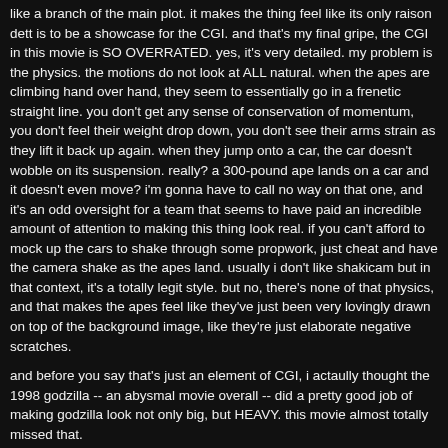like a branch of the main plot. it makes the thing feel like its only raison dett is to be a showcase for the CGI. and that's my final gripe, the CGI in this movie is SO OVERRATED. yes, it's very detailed. my problem is the physics. the motions do not look at ALL natural. when the apes are climbing hand over hand, they seem to essentially go in a frenetic straight line. you don't get any sense of conservation of momentum, you don't feel their weight drop down, you don't see their arms strain as they lift it back up again. when they jump onto a car, the car doesn't wobble on its suspension. really? a 300-pound ape lands on a car and it doesn't even move? i'm gonna have to call no way on that one, and it's an odd oversight for a team that seems to have paid an incredible amount of attention to making this thing look real. if you can't afford to mock up the cars to shake through some propwork, just cheat and have the camera shake as the apes land. usually i don't like shakicam but in that context, it's a totally legit style. but no, there's none of that physics, and that makes the apes feel like they've just been very lovingly drawn on top of the background image, like they're just elaborate negative scratches.
and before you say that's just an element of CGI, i actaully thought the 1998 godzilla -- an abysmal movie overall -- did a pretty good job of making godzilla look not only big, but HEAVY. this movie almost totally missed that.
having done nothing but gripe about it, i thought it was overall a pretty good movie. i'da probably given it a 6. mainly because it's very thematic, it levels a cultural critique that's really relevant right now, which i read as being about scientific endeavor and its relationship to this notion of the "posthuman," exploring some of the positive and negative aspects of that. the movie borrows from the "pandora's box" style theme effectively, and it's engaging to watch it play those themes out.